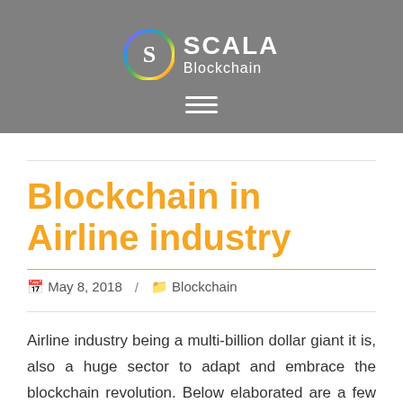[Figure (logo): Scala Blockchain logo: circular rainbow S icon with SCALA Blockchain text in white on grey header background, with hamburger menu icon below]
Blockchain in Airline industry
May 8, 2018  /  Blockchain
Airline industry being a multi-billion dollar giant it is, also a huge sector to adapt and embrace the blockchain revolution. Below elaborated are a few problems faced in the airlines industry and how blockchain technology could